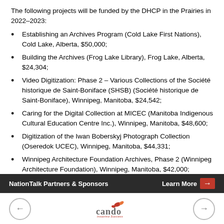The following projects will be funded by the DHCP in the Prairies in 2022–2023:
Establishing an Archives Program (Cold Lake First Nations), Cold Lake, Alberta, $50,000;
Building the Archives (Frog Lake Library), Frog Lake, Alberta, $24,304;
Video Digitization: Phase 2 – Various Collections of the Société historique de Saint-Boniface (SHSB) (Société historique de Saint-Boniface), Winnipeg, Manitoba, $24,542;
Caring for the Digital Collection at MICEC (Manitoba Indigenous Cultural Education Centre Inc.), Winnipeg, Manitoba, $48,600;
Digitization of the Iwan Boberskyj Photograph Collection (Oseredok UCEC), Winnipeg, Manitoba, $44,331;
Winnipeg Architecture Foundation Archives, Phase 2 (Winnipeg Architecture Foundation), Winnipeg, Manitoba, $42,000;
NationTalk Partners & Sponsors   Learn More →
[Figure (logo): Cando Inspiring Success logo with bird icon, back and forward navigation arrows]